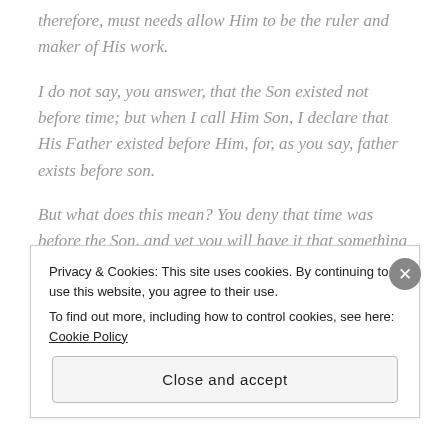therefore, must needs allow Him to be the ruler and maker of His work.
I do not say, you answer, that the Son existed not before time; but when I call Him Son, I declare that His Father existed before Him, for, as you say, father exists before son.
But what does this mean? You deny that time was before the Son, and yet you will have it that something preceded the existence of the Son—
Privacy & Cookies: This site uses cookies. By continuing to use this website, you agree to their use. To find out more, including how to control cookies, see here: Cookie Policy
Close and accept